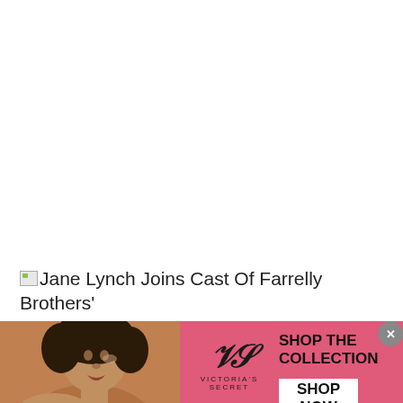Jane Lynch Joins Cast Of Farrelly Brothers' 'The Three Stooges'
[Figure (infographic): Victoria's Secret banner advertisement with pink background, featuring a female model on the left, VS logo in the center, 'SHOP THE COLLECTION' text, and 'SHOP NOW' button on the right. A close button (X) is in the top-right corner.]